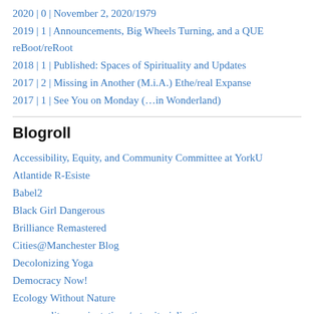2020 | 0 | November 2, 2020/1979
2019 | 1 | Announcements, Big Wheels Turning, and a QUE reBoot/reRoot
2018 | 1 | Published: Spaces of Spirituality and Updates
2017 | 2 | Missing in Another (M.i.A.) Ethe/real Expanse
2017 | 1 | See You on Monday (…in Wonderland)
Blogroll
Accessibility, Equity, and Community Committee at YorkU
Atlantide R-Esiste
Babel2
Black Girl Dangerous
Brilliance Remastered
Cities@Manchester Blog
Decolonizing Yoga
Democracy Now!
Ecology Without Nature
ecosexuality: reorientations/reterritorializations